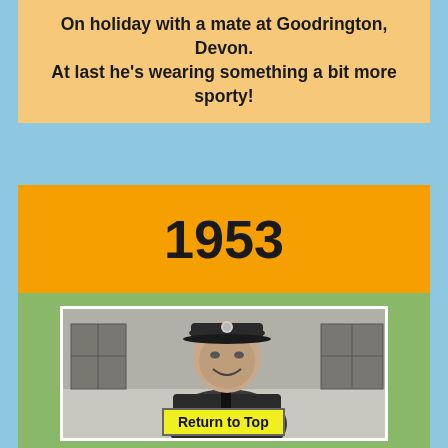On holiday with a mate at Goodrington, Devon.
At last he's wearing something a bit more sporty!
1953
[Figure (photo): Black and white photograph of a young man in military uniform with a peaked cap, smiling at the camera, standing in front of a building with windows visible in the background.]
Return to Top